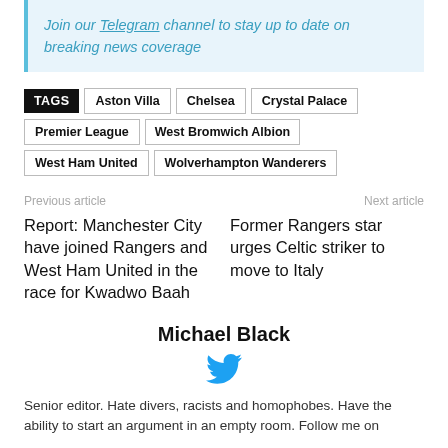Join our Telegram channel to stay up to date on breaking news coverage
TAGS: Aston Villa, Chelsea, Crystal Palace, Premier League, West Bromwich Albion, West Ham United, Wolverhampton Wanderers
Previous article
Next article
Report: Manchester City have joined Rangers and West Ham United in the race for Kwadwo Baah
Former Rangers star urges Celtic striker to move to Italy
Michael Black
[Figure (logo): Twitter bird icon in blue]
Senior editor. Hate divers, racists and homophobes. Have the ability to start an argument in an empty room. Follow me on